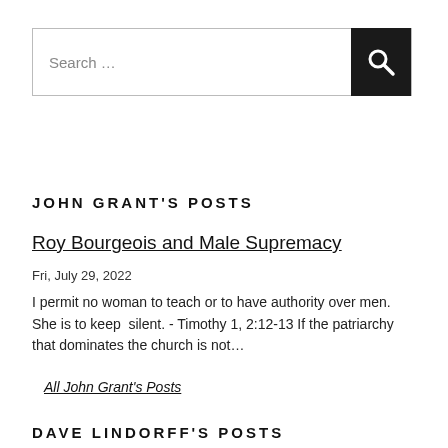[Figure (other): Search bar with text input field saying 'Search ...' and a dark search button with magnifying glass icon]
JOHN GRANT'S POSTS
Roy Bourgeois and Male Supremacy
Fri, July 29, 2022
I permit no woman to teach or to have authority over men. She is to keep  silent. - Timothy 1, 2:12-13 If the patriarchy that dominates the church is not…
All John Grant's Posts
DAVE LINDORFF'S POSTS